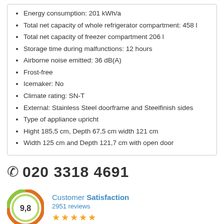Energy consumption: 201 kWh/a
Total net capacity of whole refrigerator compartment: 458 l
Total net capacity of freezer compartment 206 l
Storage time during malfunctions: 12 hours
Airborne noise emitted: 36 dB(A)
Frost-free
Icemaker: No
Climate rating: SN-T
External: Stainless Steel doorframe and Steelfinish sides
Type of appliance upricht
Hight 185,5 cm, Depth 67,5 cm width 121 cm
Width 125 cm and Depth 121,7 cm with open door
020 3318 4691
[Figure (logo): Customer Satisfaction badge showing score 9,8 with green/orange circular design, 2951 reviews, and 5 gold stars]